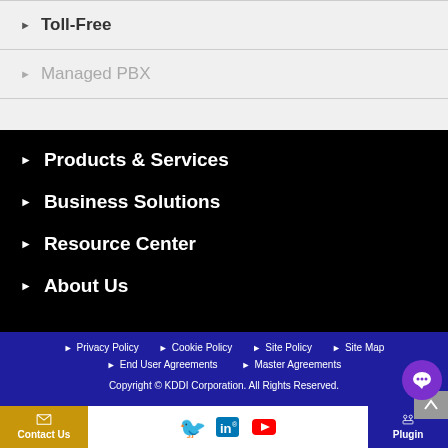Toll-Free
Managed PBX
Products & Services
Business Solutions
Resource Center
About Us
Privacy Policy  Cookie Policy  Site Policy  Site Map  End User Agreements  Master Agreements  Copyright © KDDI Corporation. All Rights Reserved.